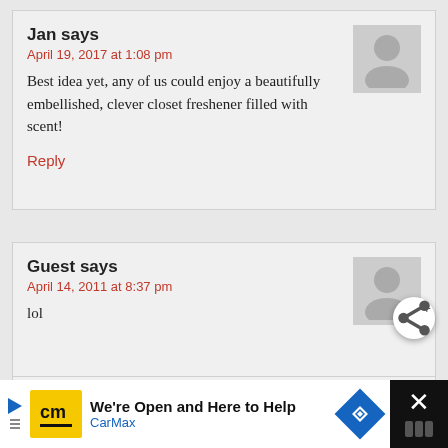Jan says
April 19, 2017 at 1:08 pm
Best idea yet, any of us could enjoy a beautifully embellished, clever closet freshener filled with scent!
Reply
Guest says
April 14, 2011 at 8:37 pm
lol
Reply
WHAT'S NEXT → Sunflower Pumpkin Do...
Guest says
We're Open and Here to Help CarMax